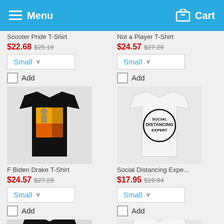Menu  Cart
Scooter Pride T-Shirt
$22.68 $25.19
Small ∨
Add
Not a Player T-Shirt
$24.57 $27.29
Small ∨
Add
[Figure (photo): Black t-shirt with colorful graphic print]
F Biden Drake T-Shirt
$24.57 $27.29
Small ∨
Add
[Figure (photo): White t-shirt with Social Distancing Expert graphic]
Social Distancing Expe...
$17.95 $19.94
Small ∨
Add
[Figure (photo): Black t-shirt with Irish Beers graphic (partial)]
[Figure (photo): White t-shirt with American flag graphic (partial)]